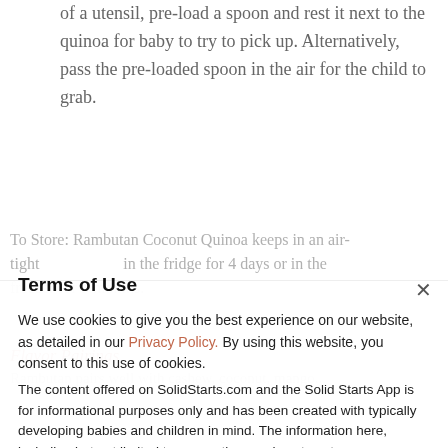of a utensil, pre-load a spoon and rest it next to the quinoa for baby to try to pick up. Alternatively, pass the pre-loaded spoon in the air for the child to grab.
To Store: Rambutan Coconut Quinoa keeps in an air-tight container in the fridge for 4 days or in the freezer for 3 months.
Terms of Use
We use cookies to give you the best experience on our website, as detailed in our Privacy Policy. By using this website, you consent to this use of cookies.
Flavor Pairings
Rambutan pairs well with cashew, coconut, mango...
The content offered on SolidStarts.com and the Solid Starts App is for informational purposes only and has been created with typically developing babies and children in mind. The information here, including but not limited to suggestions on how to cut or prepare particular foods and the size and shapes of particular foods, is generalized for a broad audience. Your child is an individual and may have needs or considerations beyond generally accepted practices. If your child has underlying medical or developmental differences, we strongly recommend and encourage you to discuss